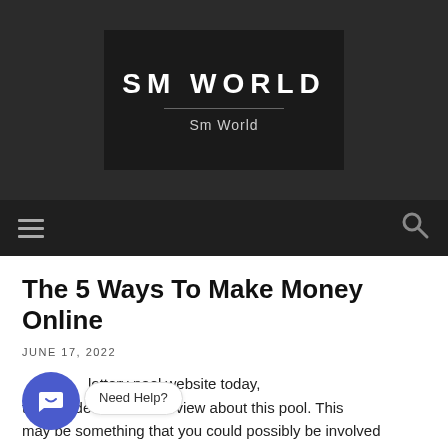[Figure (logo): SM WORLD logo on dark background with subtitle 'Sm World']
Navigation bar with hamburger menu and search icon
The 5 Ways To Make Money Online
JUNE 17, 2022
lottery pool website today, the decided create a review about this pool. This may be something that you could possibly be involved